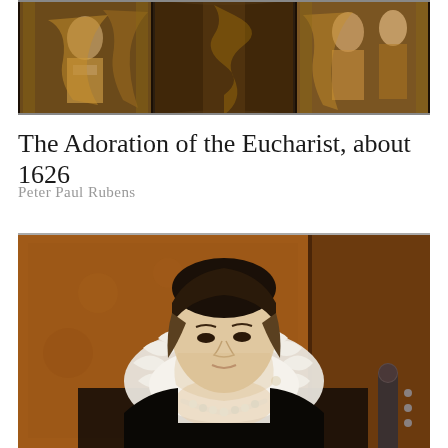[Figure (photo): A triptych painting showing The Adoration of the Eucharist, depicting religious figures in baroque style with golden and dark tones, architectural elements visible]
The Adoration of the Eucharist, about 1626
Peter Paul Rubens
[Figure (photo): Portrait painting of a noblewoman wearing an elaborate white ruff collar and pearl necklace, with dark clothing, brown/amber background, likely Marie de Medici, by Peter Paul Rubens]